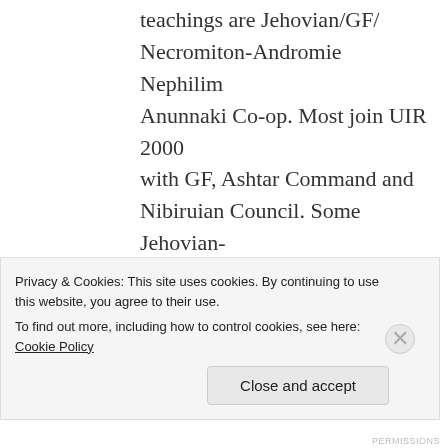teachings are Jehovian/GF/ Necromiton-Andromie Nephilim Anunnaki Co-op. Most join UIR 2000 with GF, Ashtar Command and Nibiruian Council. Some Jehovian-Nephite-Drakonian groups joined Rebel Omicron-Drakonian OWO agenda.
Pleiadian-Samjase-Luciferian-Anunnaki
Followers are Scrambled in their...
Privacy & Cookies: This site uses cookies. By continuing to use this website, you agree to their use.
To find out more, including how to control cookies, see here: Cookie Policy